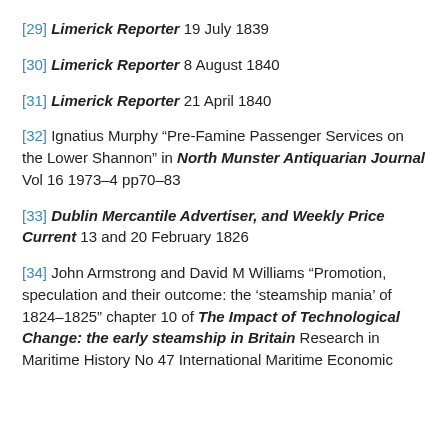[29] Limerick Reporter 19 July 1839
[30] Limerick Reporter 8 August 1840
[31] Limerick Reporter 21 April 1840
[32] Ignatius Murphy “Pre-Famine Passenger Services on the Lower Shannon” in North Munster Antiquarian Journal Vol 16 1973–4 pp70–83
[33] Dublin Mercantile Advertiser, and Weekly Price Current 13 and 20 February 1826
[34] John Armstrong and David M Williams “Promotion, speculation and their outcome: the ‘steamship mania’ of 1824–1825” chapter 10 of The Impact of Technological Change: the early steamship in Britain Research in Maritime History No 47 International Maritime Economic